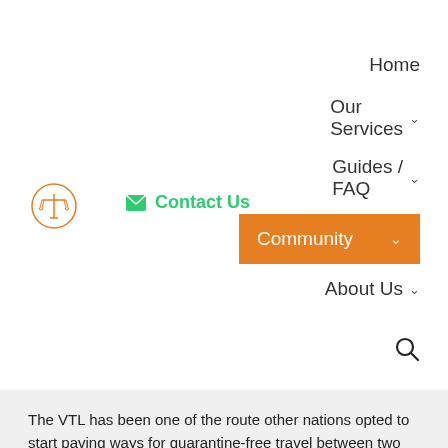[Figure (logo): Orange scales of justice icon inside a circle outline, website logo]
Contact Us
Home
Our Services
Guides / FAQ
Community
About Us
[Figure (other): Search magnifying glass icon]
The VTL has been one of the route other nations opted to start paving ways for quarantine-free travel between two countries. It allows fully vaccinated travellers to travel